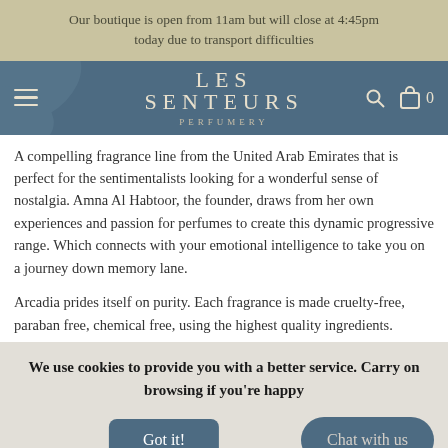Our boutique is open from 11am but will close at 4:45pm today due to transport difficulties
[Figure (logo): Les Senteurs Perfumery logo on dark teal/slate blue navigation bar with hamburger menu, search icon, and cart icon showing 0 items]
A compelling fragrance line from the United Arab Emirates that is perfect for the sentimentalists looking for a wonderful sense of nostalgia. Amna Al Habtoor, the founder, draws from her own experiences and passion for perfumes to create this dynamic progressive range. Which connects with your emotional intelligence to take you on a journey down memory lane.
Arcadia prides itself on purity. Each fragrance is made cruelty-free, paraban free, chemical free, using the highest quality ingredients.
We use cookies to provide you with a better service. Carry on browsing if you're happy